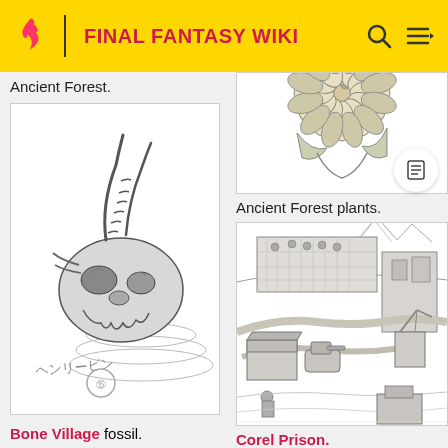FINAL FANTASY WIKI
Ancient Forest.
[Figure (illustration): Pencil sketch of a fossilized dragon skull with large curved horns, partially emerging from the ground with motion lines, signed with Japanese characters and a small circular seal at the bottom left.]
Bone Village fossil.
[Figure (illustration): Pencil sketch of a large sunflower-like plant viewed from above, showing detailed petal and seed pod structure — partially cropped at the top of the image.]
Ancient Forest plants.
[Figure (illustration): Detailed pencil sketch of Corel Prison, showing an overhead isometric view of a desert/industrial compound with large structures, walls, machinery, vehicles, and mountains in the background.]
Corel Prison.